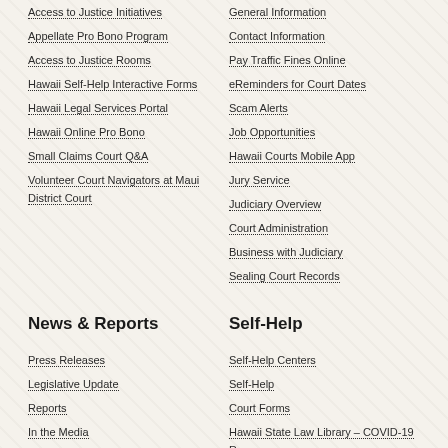Access to Justice Initiatives
Appellate Pro Bono Program
Access to Justice Rooms
Hawaii Self-Help Interactive Forms
Hawaii Legal Services Portal
Hawaii Online Pro Bono
Small Claims Court Q&A
Volunteer Court Navigators at Maui District Court
General Information
Contact Information
Pay Traffic Fines Online
eReminders for Court Dates
Scam Alerts
Job Opportunities
Hawaii Courts Mobile App
Jury Service
Judiciary Overview
Court Administration
Business with Judiciary
Sealing Court Records
News & Reports
Press Releases
Legislative Update
Reports
In the Media
Oral Arguments
Media Guidelines
Speeches
Self-Help
Self-Help Centers
Self-Help
Court Forms
Hawaii State Law Library – COVID-19 Resources
Divorce
eReminders for Court Dates
Collection Agency (MFB)